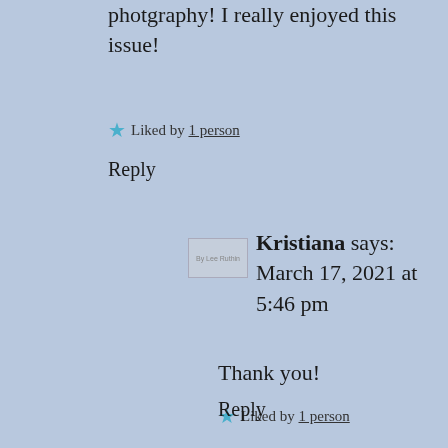photgraphy! I really enjoyed this issue!
Liked by 1 person
Reply
Kristiana says: March 17, 2021 at 5:46 pm
Thank you!
Liked by 1 person
Reply
Liyona says: March...